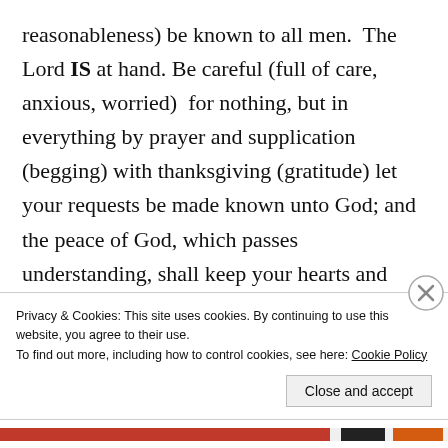reasonableness) be known to all men.  The Lord IS at hand. Be careful (full of care, anxious, worried)  for nothing, but in everything by prayer and supplication (begging) with thanksgiving (gratitude) let your requests be made known unto God; and the peace of God, which passes understanding, shall keep your hearts and minds through Christ Jesus. Finally, brethren, whatsoever things are true, whatsoever things are honest, whatsoever things are just, whatsoever things are pure, whatsoever things are lovely, whatsoever
Privacy & Cookies: This site uses cookies. By continuing to use this website, you agree to their use.
To find out more, including how to control cookies, see here: Cookie Policy
Close and accept